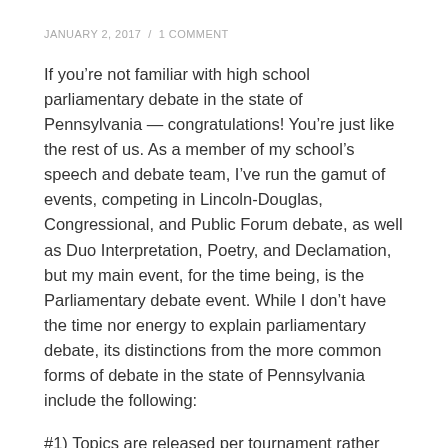JANUARY 2, 2017  /  1 COMMENT
If you’re not familiar with high school parliamentary debate in the state of Pennsylvania — congratulations! You’re just like the rest of us. As a member of my school’s speech and debate team, I’ve run the gamut of events, competing in Lincoln-Douglas, Congressional, and Public Forum debate, as well as Duo Interpretation, Poetry, and Declamation, but my main event, for the time being, is the Parliamentary debate event. While I don’t have the time nor energy to explain parliamentary debate, its distinctions from the more common forms of debate in the state of Pennsylvania include the following:
#1) Topics are released per tournament rather than monthly, bimonthly, or yearly (a true pain in the ass)d